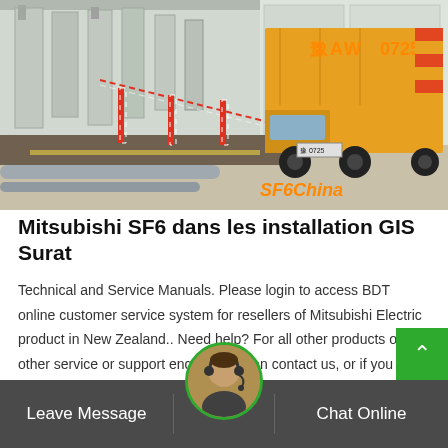[Figure (photo): Industrial GIS substation site photo showing SF6 equipment, yellow truck with Chinese license plate and markings '豫AW 0725', red-white barriers, pipes on ground, and industrial structures in background. Watermark 'SF6China' in orange.]
Mitsubishi SF6 dans les installation GIS Surat
Technical and Service Manuals. Please login to access BDT online customer service system for resellers of Mitsubishi Electric product in New Zealand.. Need help? For all other products or any other service or support enquiry you can contact us, or if you would
Leave Message   Chat Online